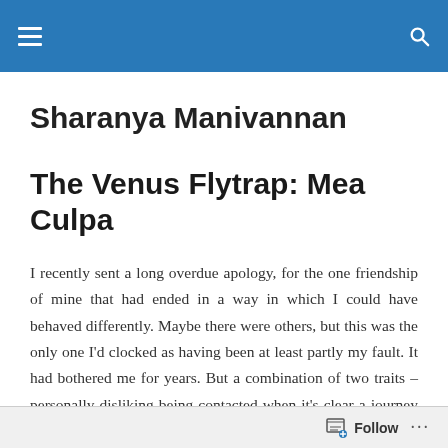Sharanya Manivannan — site navigation bar
Sharanya Manivannan
The Venus Flytrap: Mea Culpa
I recently sent a long overdue apology, for the one friendship of mine that had ended in a way in which I could have behaved differently. Maybe there were others, but this was the only one I'd clocked as having been at least partly my fault. It had bothered me for years. But a combination of two traits – personally disliking being contacted when it's clear a journey together has ended, and the relative equanimity with which I
Follow